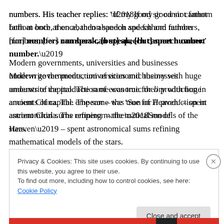numbers. His teacher replies: ‘If my good sir cannot fathom both at once, then abandon speech and fathom numbers, [for] numbers can speak, [but] speech cannot number.’
Modern governments, universities and businesses underwrite the production of economic theory with huge amounts of capital. The same was true for li production in ancient China. The emperor – the ‘Son of Heaven’ – spent astronomical sums refining mathematical models of the stars.
Privacy & Cookies: This site uses cookies. By continuing to use this website, you agree to their use.
To find out more, including how to control cookies, see here: Cookie Policy